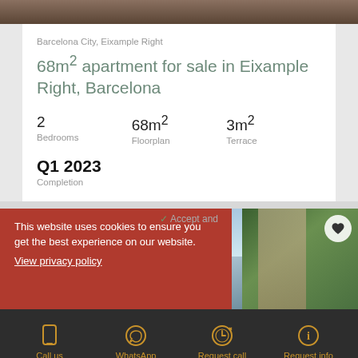Barcelona City, Eixample Right
68m² apartment for sale in Eixample Right, Barcelona
2
Bedrooms
68m²
Floorplan
3m²
Terrace
Q1 2023
Completion
This website uses cookies to ensure you get the best experience on our website. View privacy policy
Call us  WhatsApp  Request call  Request info